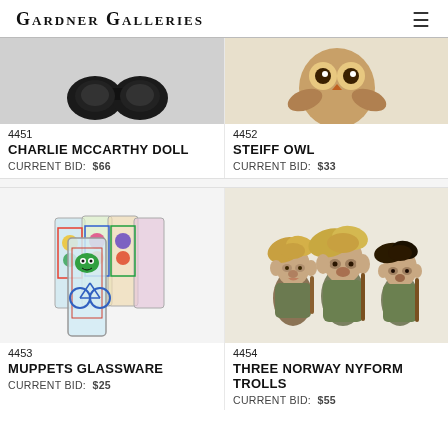Gardner Galleries
[Figure (photo): Charlie McCarthy doll - black ventriloquist dummy figure, partial view from above]
4451
CHARLIE MCCARTHY DOLL
CURRENT BID:   $66
[Figure (photo): Steiff owl stuffed animal toy, partial view]
4452
STEIFF OWL
CURRENT BID:   $33
[Figure (photo): Set of colorful Muppets themed drinking glasses with bicycle and character designs]
4453
MUPPETS GLASSWARE
CURRENT BID:   $25
[Figure (photo): Three Norway Nyform troll figurines with wild hair, seated, holding sticks]
4454
THREE NORWAY NYFORM TROLLS
CURRENT BID:   $55